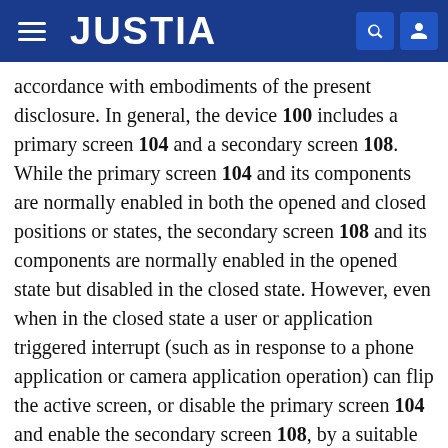JUSTIA
accordance with embodiments of the present disclosure. In general, the device 100 includes a primary screen 104 and a secondary screen 108. While the primary screen 104 and its components are normally enabled in both the opened and closed positions or states, the secondary screen 108 and its components are normally enabled in the opened state but disabled in the closed state. However, even when in the closed state a user or application triggered interrupt (such as in response to a phone application or camera application operation) can flip the active screen, or disable the primary screen 104 and enable the secondary screen 108, by a suitable command. Each screen 104, 108 can be touch sensitive and can include different operative areas. For example, a first operative area, within each touch sensitive screen 104 and 108, may comprise a touch sensitive display 110, 114. In general, the touch